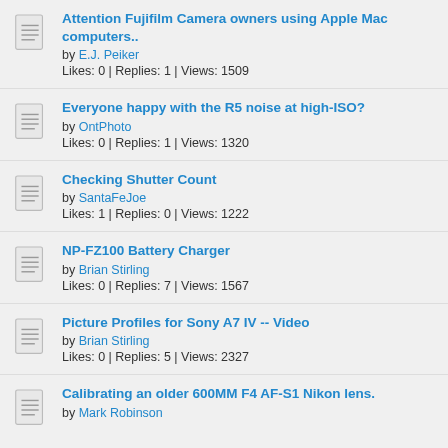Attention Fujifilm Camera owners using Apple Mac computers.. by E.J. Peiker Likes: 0 | Replies: 1 | Views: 1509
Everyone happy with the R5 noise at high-ISO? by OntPhoto Likes: 0 | Replies: 1 | Views: 1320
Checking Shutter Count by SantaFeJoe Likes: 1 | Replies: 0 | Views: 1222
NP-FZ100 Battery Charger by Brian Stirling Likes: 0 | Replies: 7 | Views: 1567
Picture Profiles for Sony A7 IV -- Video by Brian Stirling Likes: 0 | Replies: 5 | Views: 2327
Calibrating an older 600MM F4 AF-S1 Nikon lens. by Mark Robinson